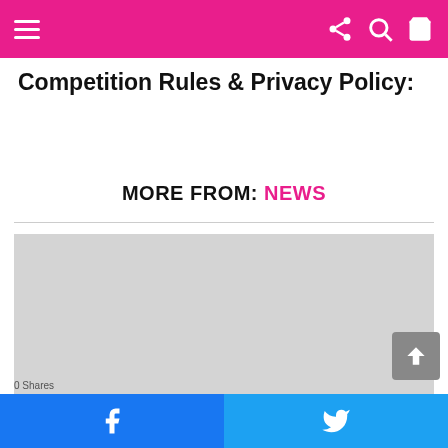Navigation bar with hamburger menu, share, search, and cart icons
Competition Rules & Privacy Policy:
MORE FROM: NEWS
[Figure (photo): Gray placeholder image block below the MORE FROM: NEWS section]
Facebook share button | Twitter share button